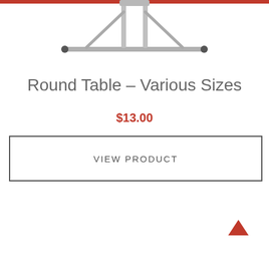[Figure (photo): Partial view of a round table with metal legs, cropped at top of page]
Round Table – Various Sizes
$13.00
VIEW PRODUCT
[Figure (other): Red upward-pointing arrow icon]